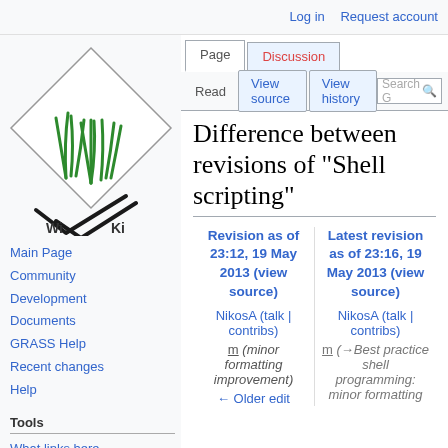Log in  Request account
[Figure (logo): WikiGrass logo - diamond shape with green grass illustration and 'Wi Ki' text below]
Main Page
Community
Development
Documents
GRASS Help
Recent changes
Help
Tools
What links here
Related changes
Special pages
Printable version
Permanent link
Difference between revisions of "Shell scripting"
| Revision as of 23:12, 19 May 2013 (view source) | Latest revision as of 23:16, 19 May 2013 (view source) |
| --- | --- |
| NikosA (talk | contribs) | NikosA (talk | contribs) |
| m (minor formatting improvement) | m (→Best practice shell programming: minor formatting |
| ← Older edit |  |